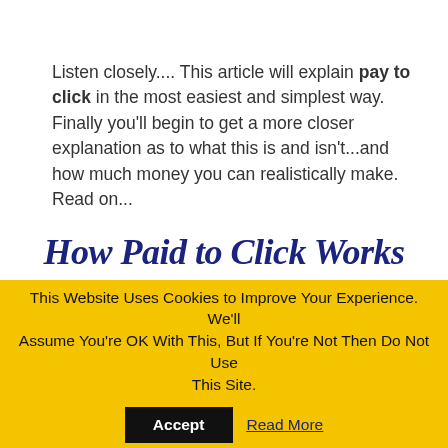Listen closely.... This article will explain pay to click in the most easiest and simplest way. Finally you'll begin to get a more closer explanation as to what this is and isn't...and how much money you can realistically make. Read on...
How Paid to Click Works
This Website Uses Cookies to Improve Your Experience. We'll Assume You're OK With This, But If You're Not Then Do Not Use This Site. Accept Read More